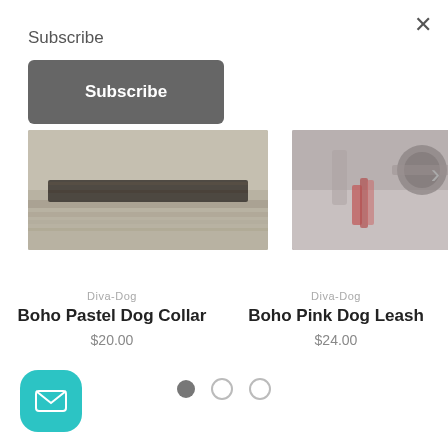Subscribe
Subscribe (button)
[Figure (photo): Two product photos side by side: left shows a dog collar close-up on a textured background, right shows a pink dog leash with metal hardware]
Diva-Dog
Boho Pastel Dog Collar
$20.00
Diva-Dog
Boho Pink Dog Leash
$24.00